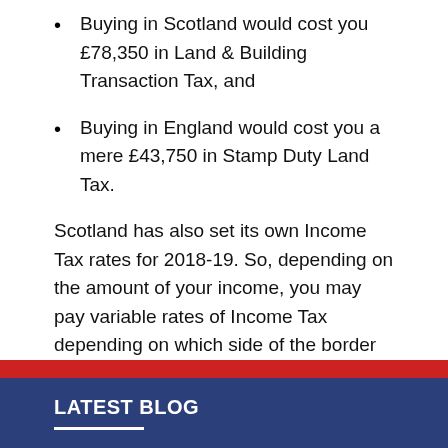Buying in Scotland would cost you £78,350 in Land & Building Transaction Tax, and
Buying in England would cost you a mere £43,750 in Stamp Duty Land Tax.
Scotland has also set its own Income Tax rates for 2018-19. So, depending on the amount of your income, you may pay variable rates of Income Tax depending on which side of the border you choose to live.
This entry was posted on Wednesday, May 9th, 2018 at 12:00 am by and is filed under Uncategorized. You can follow any responses to this entry through the RSS 2.0 feed.
LATEST BLOG